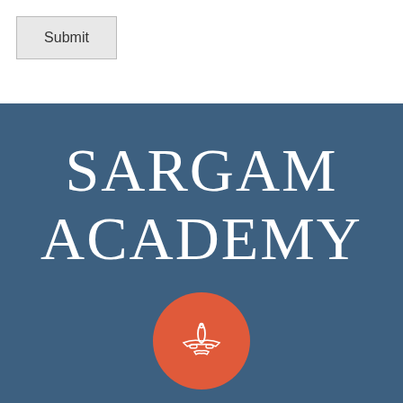[Figure (other): Submit button in top white bar area]
SARGAM ACADEMY
[Figure (illustration): Red circle with white airplane icon]